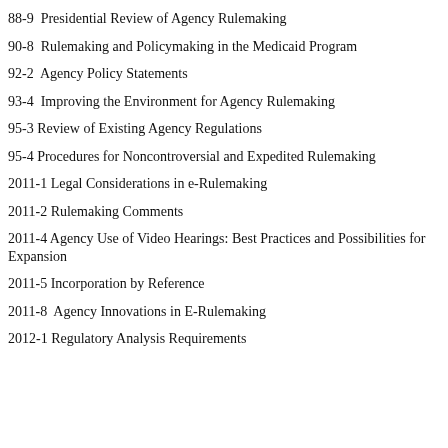88-9  Presidential Review of Agency Rulemaking
90-8  Rulemaking and Policymaking in the Medicaid Program
92-2  Agency Policy Statements
93-4  Improving the Environment for Agency Rulemaking
95-3 Review of Existing Agency Regulations
95-4 Procedures for Noncontroversial and Expedited Rulemaking
2011-1 Legal Considerations in e-Rulemaking
2011-2 Rulemaking Comments
2011-4 Agency Use of Video Hearings: Best Practices and Possibilities for Expansion
2011-5 Incorporation by Reference
2011-8  Agency Innovations in E-Rulemaking
2012-1 Regulatory Analysis Requirements